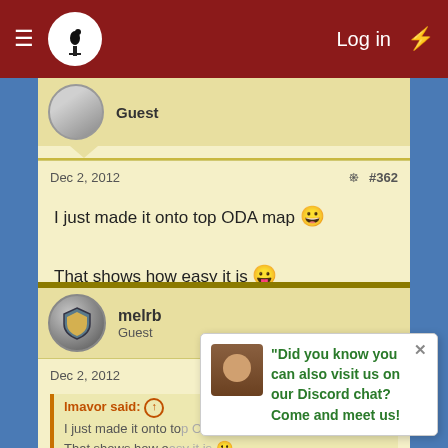Log in
Guest
Dec 2, 2012  #362
I just made it onto top ODA map 😀

That shows how easy it is 😛
melrb
Guest
Dec 2, 2012  #363
lmavor said:
I just made it onto top ODA map

That shows how easy it is
Did you know you can also visit us on our Discord chat? Come and meet us!